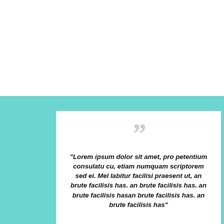“Lorem ipsum dolor sit amet, pro petentium consulatu cu, etiam numquam scriptorem sed ei. Mel labitur facilisi praesent ut, an brute facilisis has. an brute facilisis has. an brute facilisis hasan brute facilisis has. an brute facilisis has” Testimonial 1